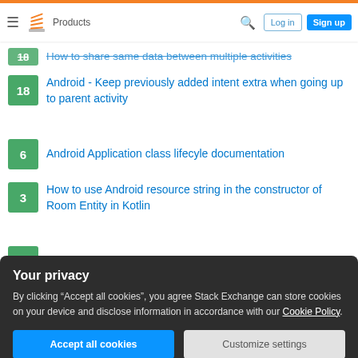Stack Overflow navigation: hamburger menu, logo, Products, search, Log in, Sign up
18 - How to share same data between multiple activities
18 - Android - Keep previously added intent extra when going up to parent activity
6 - Android Application class lifecyle documentation
3 - How to use Android resource string in the constructor of Room Entity in Kotlin
0 - Android main activity destroy(finish) automatically
3 - Signing out from Google Plus api
0 - Losing 'MediaPlayer' (& other Variables) when Device is
Your privacy
By clicking "Accept all cookies", you agree Stack Exchange can store cookies on your device and disclose information in accordance with our Cookie Policy.
2821 - How can I save an activity state using the save instance state?